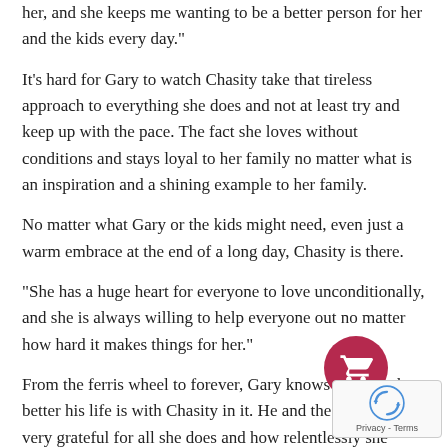her, and she keeps me wanting to be a better person for her and the kids every day."
It's hard for Gary to watch Chasity take that tireless approach to everything she does and not at least try and keep up with the pace. The fact she loves without conditions and stays loyal to her family no matter what is an inspiration and a shining example to her family.
No matter what Gary or the kids might need, even just a warm embrace at the end of a long day, Chasity is there.
“She has a huge heart for everyone to love unconditionally, and she is always willing to help everyone out no matter how hard it makes things for her.”
From the ferris wheel to forever, Gary knows how much better his life is with Chasity in it. He and the kids are so very grateful for all she does and how relentlessly she loves and supports them.
“From the first moment I met you, my life has been better,” Gary said. “It gets better every day I wake up next to you and lay down beside you. Together we’ll be able to do anything. I know with you by my side, my